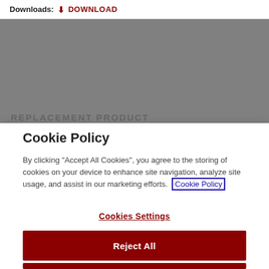Downloads: ⬇ DOWNLOAD
[Figure (screenshot): Gray blurred background area showing a partially visible page with 'REPLACEMENT PRODUCT' text at the bottom]
Cookie Policy
By clicking "Accept All Cookies", you agree to the storing of cookies on your device to enhance site navigation, analyze site usage, and assist in our marketing efforts. Cookie Policy
Cookies Settings
Reject All